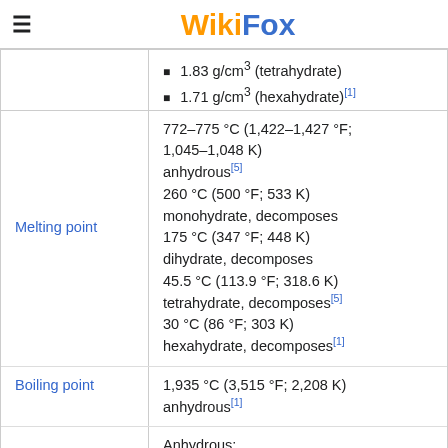WikiFox
1.83 g/cm³ (tetrahydrate)
1.71 g/cm³ (hexahydrate)[1]
| Property | Value |
| --- | --- |
| Melting point | 772–775 °C (1,422–1,427 °F; 1,045–1,048 K) anhydrous[5]
260 °C (500 °F; 533 K) monohydrate, decomposes
175 °C (347 °F; 448 K) dihydrate, decomposes
45.5 °C (113.9 °F; 318.6 K) tetrahydrate, decomposes[5]
30 °C (86 °F; 303 K) hexahydrate, decomposes[1] |
| Boiling point | 1,935 °C (3,515 °F; 2,208 K) anhydrous[1] |
Anhydrous: